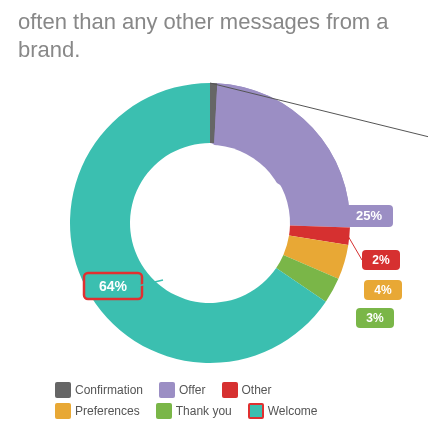often than any other messages from a brand.
[Figure (donut-chart): ]
Confirmation  Offer  Other  Preferences  Thank you  Welcome